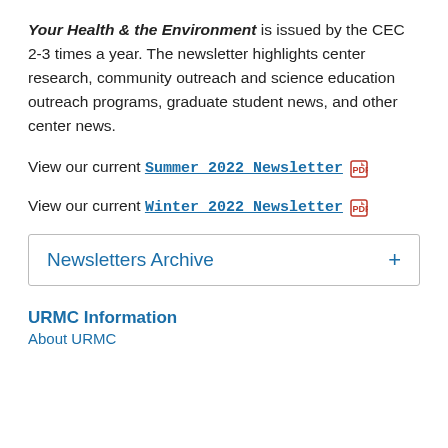Your Health & the Environment is issued by the CEC 2-3 times a year. The newsletter highlights center research, community outreach and science education outreach programs, graduate student news, and other center news.
View our current Summer 2022 Newsletter [PDF icon]
View our current Winter 2022 Newsletter [PDF icon]
Newsletters Archive +
URMC Information
About URMC